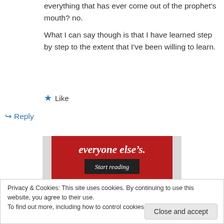everything that has ever come out of the prophet's mouth? no.

What I can say though is that I have learned step by step to the extent that I've been willing to learn.
★ Like
↪ Reply
[Figure (infographic): Red advertisement banner with text 'everyone else's.' in white italic serif font and a dark 'Start reading' button]
Privacy & Cookies: This site uses cookies. By continuing to use this website, you agree to their use.
To find out more, including how to control cookies, see here: Cookie Policy
Close and accept